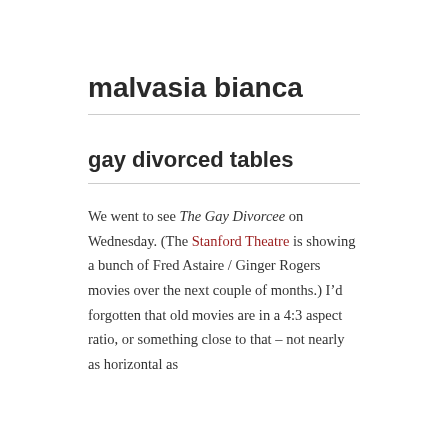malvasia bianca
gay divorced tables
We went to see The Gay Divorcee on Wednesday. (The Stanford Theatre is showing a bunch of Fred Astaire / Ginger Rogers movies over the next couple of months.) I’d forgotten that old movies are in a 4:3 aspect ratio, or something close to that – not nearly as horizontal as